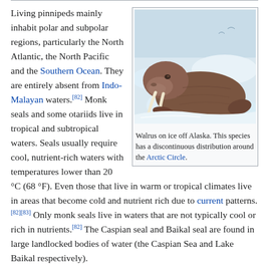Living pinnipeds mainly inhabit polar and subpolar regions, particularly the North Atlantic, the North Pacific and the Southern Ocean. They are entirely absent from Indo-Malayan waters.[82] Monk seals and some otariids live in tropical and subtropical waters. Seals usually require cool, nutrient-rich waters with temperatures lower than 20 °C (68 °F). Even those that live in warm or tropical climates live in areas that become cold and nutrient rich due to current patterns.[82][83] Only monk seals live in waters that are not typically cool or rich in nutrients.[82] The Caspian seal and Baikal seal are found in large landlocked bodies of water (the Caspian Sea and Lake Baikal respectively).
[Figure (photo): A walrus resting on ice off Alaska, showing large tusks and wrinkled brown skin against a snowy/icy background]
Walrus on ice off Alaska. This species has a discontinuous distribution around the Arctic Circle.
As a whole, pinnipeds can be found in a variety of aquatic habitats,